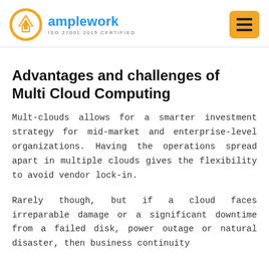amplework ISO 27001:2015 CERTIFIED
Advantages and challenges of Multi Cloud Computing
Mult-clouds allows for a smarter investment strategy for mid-market and enterprise-level organizations. Having the operations spread apart in multiple clouds gives the flexibility to avoid vendor lock-in.
Rarely though, but if a cloud faces irreparable damage or a significant downtime from a failed disk, power outage or natural disaster, then business continuity